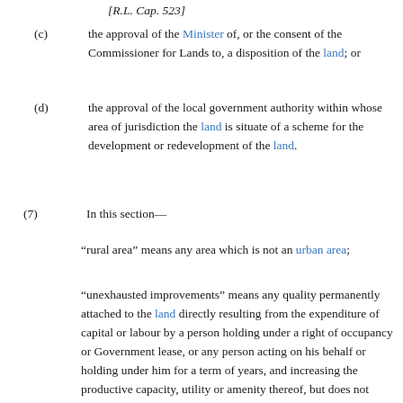[R.L. Cap. 523]
(c) the approval of the Minister of, or the consent of the Commissioner for Lands to, a disposition of the land; or
(d) the approval of the local government authority within whose area of jurisdiction the land is situate of a scheme for the development or redevelopment of the land.
(7) In this section—
“rural area” means any area which is not an urban area;
“unexhausted improvements” means any quality permanently attached to the land directly resulting from the expenditure of capital or labour by a person holding under a right of occupancy or Government lease, or any person acting on his behalf or holding under him for a term of years, and increasing the productive capacity, utility or amenity thereof, but does not include the results of ordinary cultivation other than standing crops or growing produce;